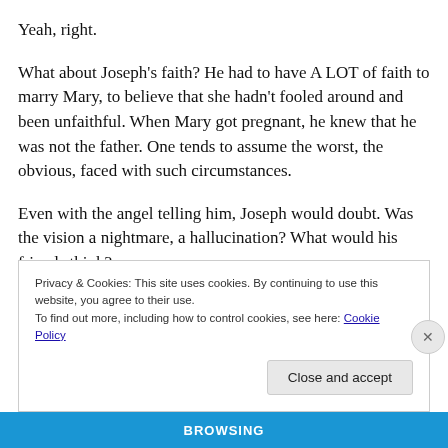Yeah, right.
What about Joseph's faith? He had to have A LOT of faith to marry Mary, to believe that she hadn't fooled around and been unfaithful. When Mary got pregnant, he knew that he was not the father. One tends to assume the worst, the obvious, faced with such circumstances.
Even with the angel telling him, Joseph would doubt. Was the vision a nightmare, a hallucination? What would his friends think?
Privacy & Cookies: This site uses cookies. By continuing to use this website, you agree to their use.
To find out more, including how to control cookies, see here: Cookie Policy
Close and accept